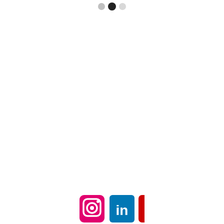[Figure (other): Three pagination dots near top center: gray dot, black filled dot, gray dot]
[Figure (logo): Three social media icons at bottom center: Instagram (pink/magenta square with camera icon), LinkedIn (blue square with 'in' text), YouTube (red square with white play button triangle)]